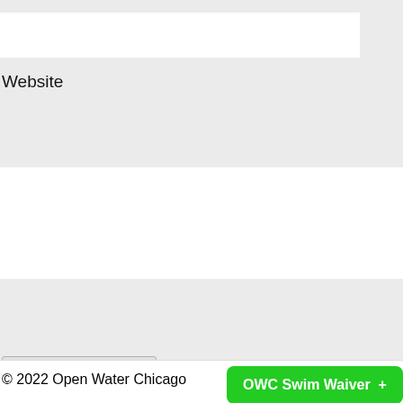Website
Submit
Notify me of followup comments via e-mail
© 2022 Open Water Chicago
OWC Swim Waiver +